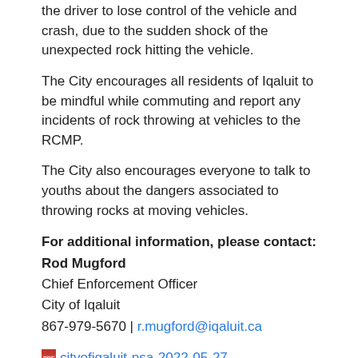the driver to lose control of the vehicle and crash, due to the sudden shock of the unexpected rock hitting the vehicle.
The City encourages all residents of Iqaluit to be mindful while commuting and report any incidents of rock throwing at vehicles to the RCMP.
The City also encourages everyone to talk to youths about the dangers associated to throwing rocks at moving vehicles.
For additional information, please contact:
Rod Mugford
Chief Enforcement Officer
City of Iqaluit
867-979-5670 | r.mugford@iqaluit.ca
cityofiqaluit-psa-2022-05-27-rockthrowingincidents-taxivehicles-eng.pdf
Notice: